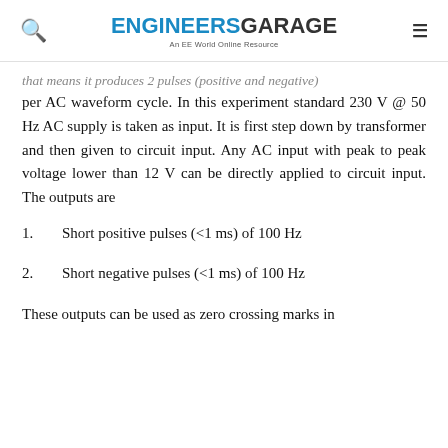ENGINEERS GARAGE — An EE World Online Resource
...that means it produces 2 pulses (positive and negative) per AC waveform cycle. In this experiment standard 230 V @ 50 Hz AC supply is taken as input. It is first step down by transformer and then given to circuit input. Any AC input with peak to peak voltage lower than 12 V can be directly applied to circuit input. The outputs are
Short positive pulses (<1 ms) of 100 Hz
Short negative pulses (<1 ms) of 100 Hz
These outputs can be used as zero crossing marks in